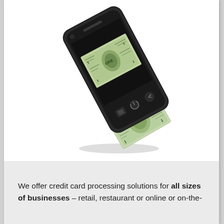[Figure (illustration): A smartphone tilted at an angle with a US dollar bill being scanned through it — the bill appears to be feeding through the phone from top to bottom, suggesting mobile payment or credit card processing.]
We offer credit card processing solutions for all sizes of businesses – retail, restaurant or online or on-the-